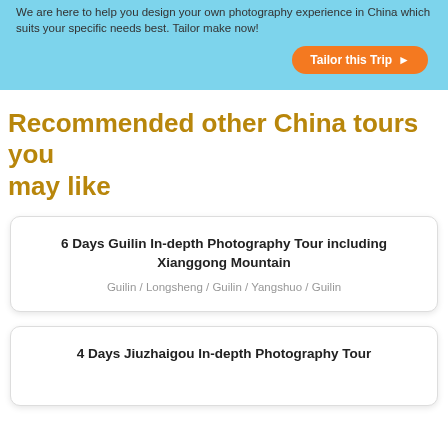We are here to help you design your own photography experience in China which suits your specific needs best. Tailor make now!
Recommended other China tours you may like
6 Days Guilin In-depth Photography Tour including Xianggong Mountain
Guilin / Longsheng / Guilin / Yangshuo / Guilin
4 Days Jiuzhaigou In-depth Photography Tour